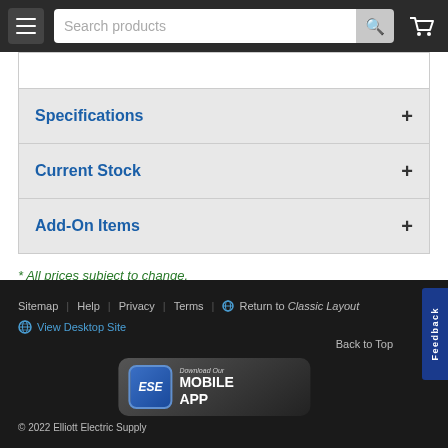Search products
Specifications +
Current Stock +
Add-On Items +
* All prices subject to change.
Sitemap  Help  Privacy  Terms  Return to Classic Layout  View Desktop Site  Back to Top  © 2022 Elliott Electric Supply